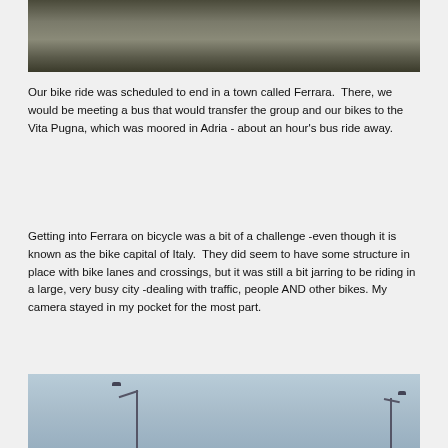[Figure (photo): Top portion of a photograph showing a dark object on grassy/rocky ground]
Our bike ride was scheduled to end in a town called Ferrara.  There, we would be meeting a bus that would transfer the group and our bikes to the Vita Pugna, which was moored in Adria - about an hour's bus ride away.
Getting into Ferrara on bicycle was a bit of a challenge -even though it is known as the bike capital of Italy.  They did seem to have some structure in place with bike lanes and crossings, but it was still a bit jarring to be riding in a large, very busy city -dealing with traffic, people AND other bikes. My camera stayed in my pocket for the most part.
[Figure (photo): Bottom portion of a photograph showing a blue sky with street lamp posts]